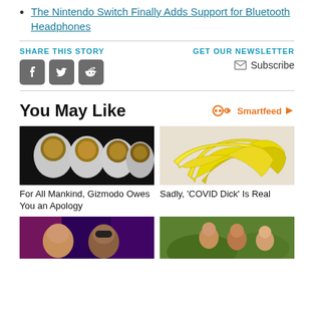The Nintendo Switch Finally Adds Support for Bluetooth Headphones
SHARE THIS STORY
GET OUR NEWSLETTER
Subscribe
You May Like
Smartfeed
[Figure (photo): Astronauts in white spacesuits with reflective gold helmets lined up]
[Figure (photo): Two yellow bananas on a white marble surface]
For All Mankind, Gizmodo Owes You an Apology
Sadly, 'COVID Dick' Is Real
[Figure (photo): Two men, one wearing glasses, in front of colorful background]
[Figure (photo): Women outdoors in a garden or park setting]